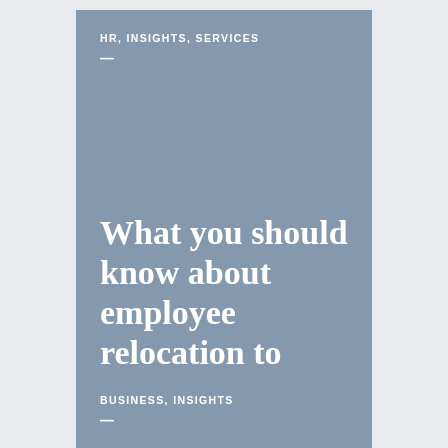HR, INSIGHTS, SERVICES
What you should know about employee relocation to Dubai?
BUSINESS, INSIGHTS